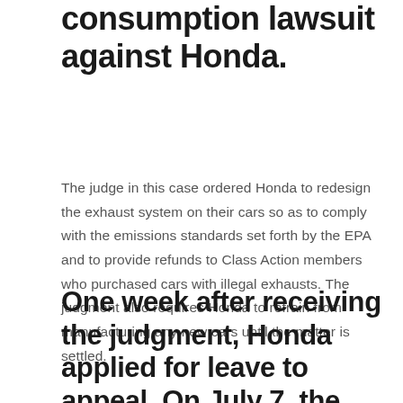consumption lawsuit against Honda.
The judge in this case ordered Honda to redesign the exhaust system on their cars so as to comply with the emissions standards set forth by the EPA and to provide refunds to Class Action members who purchased cars with illegal exhausts. The judgment also requires Honda to refrain from manufacturing any new cars until the matter is settled.
One week after receiving the judgment, Honda applied for leave to appeal. On July 7, the appeals court denied Honda's